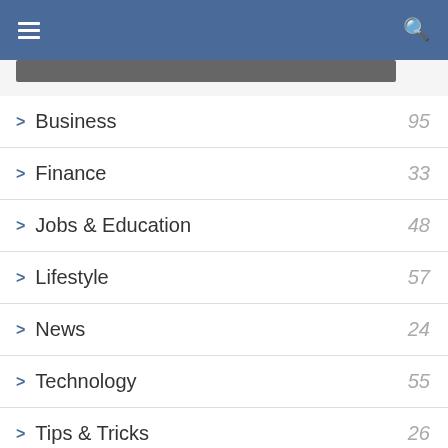Navigation menu with hamburger and search icons
Business 95
Finance 33
Jobs & Education 48
Lifestyle 57
News 24
Technology 55
Tips & Tricks 26